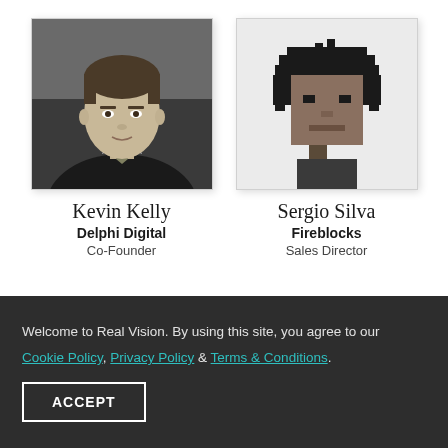[Figure (photo): Black and white professional headshot of Kevin Kelly, a young man in a dark suit and tie]
Kevin Kelly
Delphi Digital
Co-Founder
[Figure (illustration): Pixel art avatar of Sergio Silva, a stylized CryptoPunk-style character with dark hair on light gray background]
Sergio Silva
Fireblocks
Sales Director
Welcome to Real Vision. By using this site, you agree to our Cookie Policy, Privacy Policy & Terms & Conditions.
ACCEPT